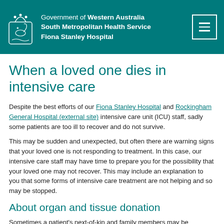Government of Western Australia South Metropolitan Health Service Fiona Stanley Hospital
When a loved one dies in intensive care
Despite the best efforts of our Fiona Stanley Hospital and Rockingham General Hospital (external site) intensive care unit (ICU) staff, sadly some patients are too ill to recover and do not survive.
This may be sudden and unexpected, but often there are warning signs that your loved one is not responding to treatment. In this case, our intensive care staff may have time to prepare you for the possibility that your loved one may not recover. This may include an explanation to you that some forms of intensive care treatment are not helping and so may be stopped.
About organ and tissue donation
Sometimes a patient's next-of-kin and family members may be approached to discuss organ and tissue donation. This is when a person who has died (a donor) donates their organs or tissues to another person (a recipient). These are used to replace damaged organs or tissue of other people through a life-